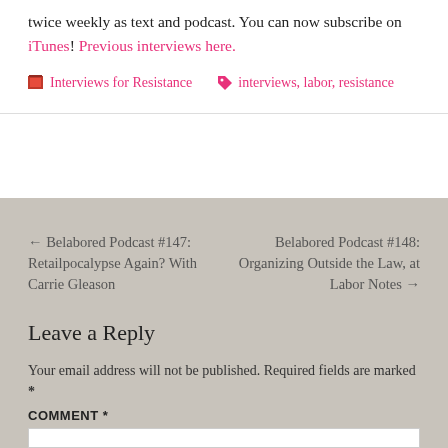twice weekly as text and podcast. You can now subscribe on iTunes! Previous interviews here.
Interviews for Resistance   interviews, labor, resistance
← Belabored Podcast #147: Retailpocalypse Again? With Carrie Gleason
Belabored Podcast #148: Organizing Outside the Law, at Labor Notes →
Leave a Reply
Your email address will not be published. Required fields are marked *
COMMENT *